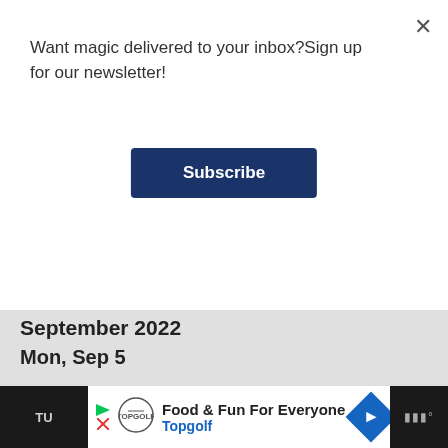Want magic delivered to your inbox?Sign up for our newsletter!
Subscribe
IMPORTANT DATES
September 2022
Mon, Sep 5
Harry hears the Basilisk in the walls for the first time
1992
Ron's wand backfires as he tries to curse Mal Eat Slugs!
1992
[Figure (other): Advertisement banner: Food & Fun For Everyone - Topgolf]
1